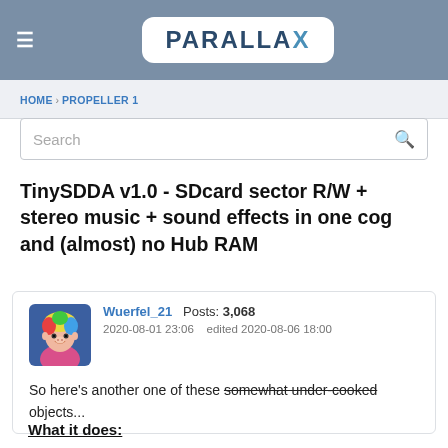PARALLAX
HOME › PROPELLER 1
Search
TinySDDA v1.0 - SDcard sector R/W + stereo music + sound effects in one cog and (almost) no Hub RAM
Wuerfel_21   Posts: 3,068
2020-08-01 23:06   edited 2020-08-06 18:00
So here's another one of these somewhat under-cooked objects...
What it does: